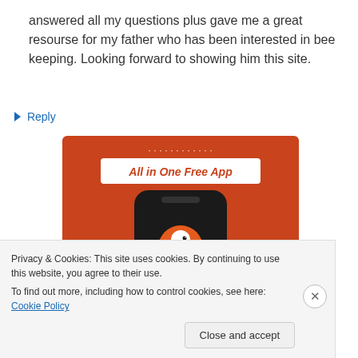answered all my questions plus gave me a great resourse for my father who has been interested in bee keeping. Looking forward to showing him this site.
↳ Reply
[Figure (screenshot): DuckDuckGo app advertisement banner on orange background showing 'All in One Free App' text with a smartphone displaying the DuckDuckGo duck logo]
Privacy & Cookies: This site uses cookies. By continuing to use this website, you agree to their use. To find out more, including how to control cookies, see here: Cookie Policy
Close and accept